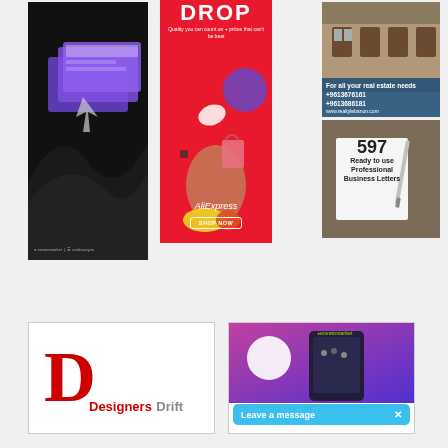[Figure (advertisement): CodeCanyon / Envato Market WordPress plugins ad on dark background with layered UI screenshots]
[Figure (advertisement): AliExpress DROP ad on red background. Text: 'Quality you can count on + prices that can't be beat'. AliExpress logo and SHOP NOW button. Woman with shopping items.]
[Figure (advertisement): Realty Lebanon real estate ad showing stone building and pool. Phone: +9613676161, +9613686181, www.realtylebanon.com]
[Figure (advertisement): 597 Ready to use Professional Business Letters product ad on dark fabric background with pen and notepad]
[Figure (advertisement): Designers Drift logo with red D letter and text in red and gray]
[Figure (advertisement): Envato Market ad with Leave a message chat bar overlay. Purple/pink gradient with phone mockup.]